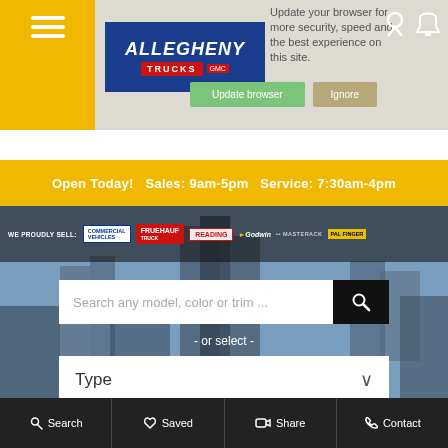[Figure (screenshot): Browser update notification bar with 'Update your browser for more security, speed and the best experience on this site.' text, and two buttons: 'Update browser' (green) and 'Ignore' (tan)]
[Figure (logo): Allegheny Trucks logo - blue background with italic white text and red TRUCKS label]
Open Today!   Sales: 9am-5pm   Service: 7:30am-4pm
[Figure (screenshot): WE PROUDLY SELL brand logos bar: Commercial Vehicles, Fruehauf Truck, Reading, Godwin, Masterack, Pal Finder]
Search any model, color or trim ...
- or select -
Type
Search
Saved
Share
Contact